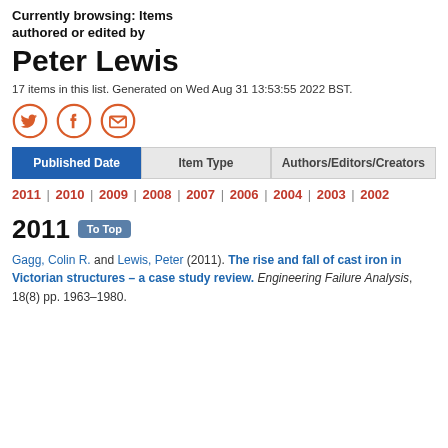Currently browsing: Items authored or edited by
Peter Lewis
17 items in this list. Generated on Wed Aug 31 13:53:55 2022 BST.
[Figure (other): Social share icons: Twitter, Facebook, Email (orange circular icons)]
| Published Date | Item Type | Authors/Editors/Creators |
| --- | --- | --- |
2011 | 2010 | 2009 | 2008 | 2007 | 2006 | 2004 | 2003 | 2002
2011
Gagg, Colin R. and Lewis, Peter (2011). The rise and fall of cast iron in Victorian structures – a case study review. Engineering Failure Analysis, 18(8) pp. 1963–1980.